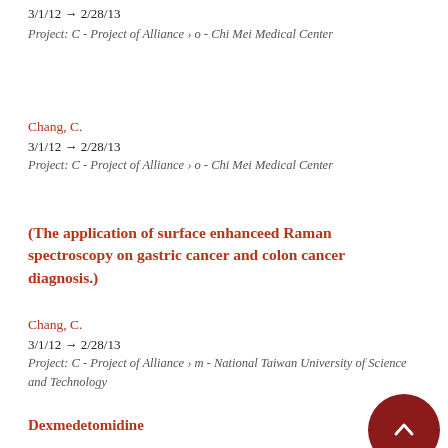3/1/12 → 2/28/13
Project: C - Project of Alliance › o - Chi Mei Medical Center
Chang, C.
3/1/12 → 2/28/13
Project: C - Project of Alliance › o - Chi Mei Medical Center
(The application of surface enhanceed Raman spectroscopy on gastric cancer and colon cancer diagnosis.)
Chang, C.
3/1/12 → 2/28/13
Project: C - Project of Alliance › m - National Taiwan University of Science and Technology
Dexmedetomidine